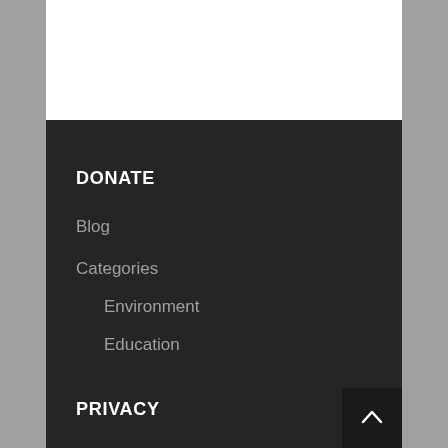DONATE
Blog
Categories
Environment
Education
PRIVACY
Home
Page Styling